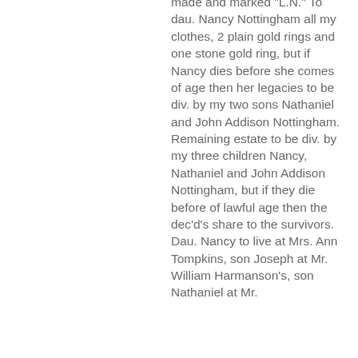made and marked "L.N." To dau. Nancy Nottingham all my clothes, 2 plain gold rings and one stone gold ring, but if Nancy dies before she comes of age then her legacies to be div. by my two sons Nathaniel and John Addison Nottingham. Remaining estate to be div. by my three children Nancy, Nathaniel and John Addison Nottingham, but if they die before of lawful age then the dec'd's share to the survivors. Dau. Nancy to live at Mrs. Ann Tompkins, son Joseph at Mr. William Harmanson's, son Nathaniel at Mr.